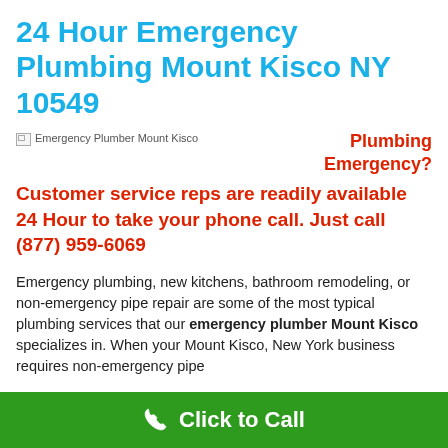24 Hour Emergency Plumbing Mount Kisco NY 10549
[Figure (photo): Emergency Plumber Mount Kisco image placeholder]
Plumbing Emergency?
Customer service reps are readily available 24 Hour to take your phone call. Just call (877) 959-6069
Emergency plumbing, new kitchens, bathroom remodeling, or non-emergency pipe repair are some of the most typical plumbing services that our emergency plumber Mount Kisco specializes in. When your Mount Kisco, New York business requires non-emergency pipe
Click to Call